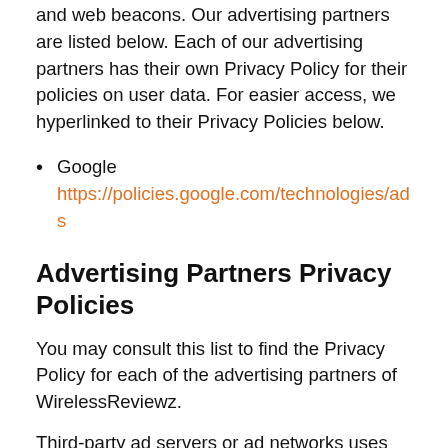and web beacons. Our advertising partners are listed below. Each of our advertising partners has their own Privacy Policy for their policies on user data. For easier access, we hyperlinked to their Privacy Policies below.
Google https://policies.google.com/technologies/ads
Advertising Partners Privacy Policies
You may consult this list to find the Privacy Policy for each of the advertising partners of WirelessReviewz.
Third-party ad servers or ad networks uses